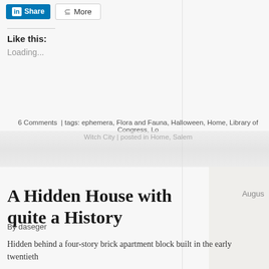[Figure (screenshot): LinkedIn Share button (blue) and More button with share icon]
Like this:
Loading...
6 Comments  |  tags: ephemera, Flora and Fauna, Halloween, Home, Library of Congress, Lo... Witch City | posted in Home, Salem
[Figure (photo): Faded decorative background image strip]
A Hidden House with quite a History
By daseger
Hidden behind a four-story brick apartment block built in the early twentieth